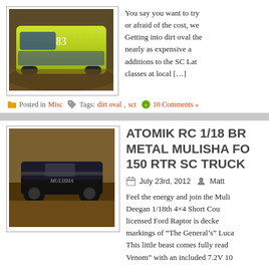[Figure (photo): RC dirt oval late model car with yellow/green body on a dirt track]
You say you want to try or afraid of the cost, we Getting into dirt oval the nearly as expensive a additions to the SC Lat classes at local […]
Posted in Misc   Tags: dirt oval, sct   10 Comments »
[Figure (photo): RC short course truck (Metal Mulisha Ford Raptor) on a dirt surface]
ATOMIK RC 1/18 BR METAL MULISHA FO 150 RTR SC TRUCK
July 23rd, 2012   Matt
Feel the energy and join the Muli Deegan 1/18th 4×4 Short Cou licensed Ford Raptor is decke markings of "The General's" Luca This little beast comes fully read Venom" with an included 7.2V 10
[…]